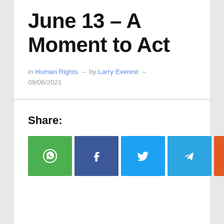June 13 – A Moment to Act
in Human Rights – by Larry Everest – 09/06/2021
Share:
[Figure (infographic): Six social share buttons: WhatsApp (green), Facebook (dark blue), Twitter (light blue), Telegram (light blue), Reddit (orange), Email (dark grey)]